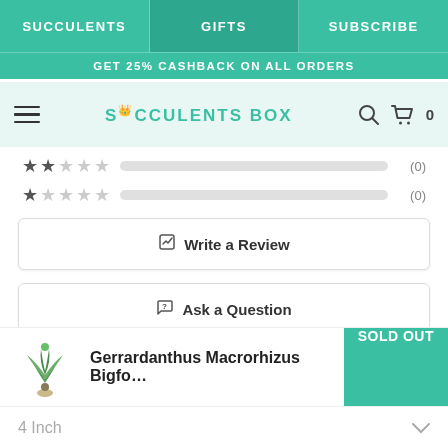SUCCULENTS | GIFTS | SUBSCRIBE
GET 25% CASHBACK ON ALL ORDERS
SUCCULENTS BOX
2 stars (0)
1 star (0)
Write a Review
Ask a Question
Reviews 10   Questions 0
Sort
Gerrardanthus Macrorhizus Bigfo...
SOLD OUT
4 Inch